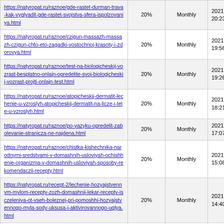| https://natyropat.ru/raznoe/gde-rastet-durman-trava-kak-vyglyadit-gde-rastet-svojstva-sfera-ispolzovaniya.html | 20% | Monthly | 2021-11-16 20:23 |
| https://natyropat.ru/raznoe/czigun-massazh-massazh-czigun-chto-eto-zagadki-vostochnoj-krasoty-i-zdorovya.html | 20% | Monthly | 2021-11-16 19:56 |
| https://natyropat.ru/raznoe/test-na-biologicheskij-vozrast-besplatno-onlajn-opredelite-svoj-biologicheskij-vozrast-projti-onlajn-test.html | 20% | Monthly | 2021-11-16 19:26 |
| https://natyropat.ru/raznoe/atopicheskij-dermatit-lechenie-u-vzroslyh-atopicheskij-dermatit-na-licze-i-tele-u-vzroslyh.html | 20% | Monthly | 2021-11-16 18:21 |
| https://natyropat.ru/raznoe/po-yazyku-opredelit-zabolevanie-stranicza-ne-najdena.html | 20% | Monthly | 2021-11-16 17:07 |
| https://natyropat.ru/raznoe/chistka-kishechnika-narodnymi-sredstvami-v-domashnih-usloviyah-ochishhenie-organizma-v-domashnih-usloviyah-sposoby-rekomendaczii-recepty.html | 20% | Monthly | 2021-11-16 15:08 |
| https://natyropat.ru/recept-2/lechenie-hozyajstvennym-mylom-recepty-zozh-domashnij-lekar-recepty-isczeleniya-ot-vseh-boleznej-pri-pomoshhi-hozyajstvennogo-myla-sody-uksusa-i-aktivirovannogo-uglya.html | 20% | Monthly | 2021-11-16 14:40 |
| https://natyropat.ru/raznoe/chto-poleznee-ogurczy-ili-pomidory-chto- | 20% | Monthly | 2021-11-16 |